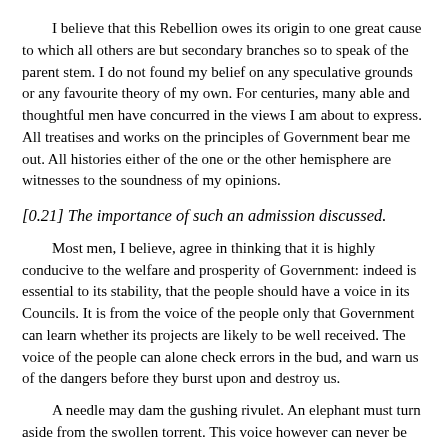I believe that this Rebellion owes its origin to one great cause to which all others are but secondary branches so to speak of the parent stem. I do not found my belief on any speculative grounds or any favourite theory of my own. For centuries, many able and thoughtful men have concurred in the views I am about to express. All treatises and works on the principles of Government bear me out. All histories either of the one or the other hemisphere are witnesses to the soundness of my opinions.
[0.21] The importance of such an admission discussed.
Most men, I believe, agree in thinking that it is highly conducive to the welfare and prosperity of Government: indeed is essential to its stability, that the people should have a voice in its Councils. It is from the voice of the people only that Government can learn whether its projects are likely to be well received. The voice of the people can alone check errors in the bud, and warn us of the dangers before they burst upon and destroy us.
A needle may dam the gushing rivulet. An elephant must turn aside from the swollen torrent. This voice however can never be heard, and this security never acquired, unless the people are allowed a share in the consultation of Government. The men who have ruled India should never have forgotten that they were here in the position of foreigners, that they differed from the natives in